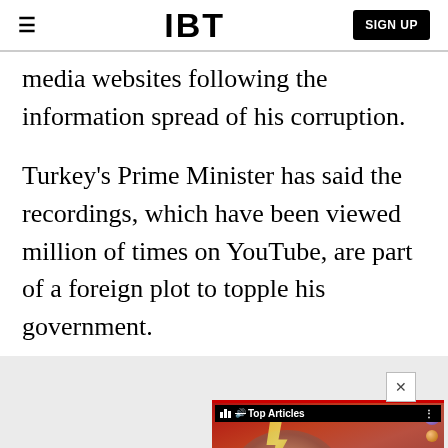IBT | SIGN UP
media websites following the information spread of his corruption.
Turkey's Prime Minister has said the recordings, which have been viewed million of times on YouTube, are part of a foreign plot to topple his government.
[Figure (screenshot): Video widget showing 'Top Articles' overlay with caption 'New Spider Genus, Several New Species...' on a colorful background with a face and bubbles]